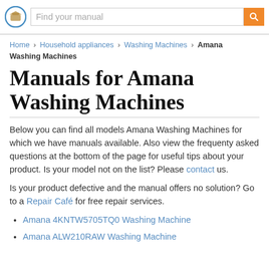Find your manual
Home > Household appliances > Washing Machines > Amana Washing Machines
Manuals for Amana Washing Machines
Below you can find all models Amana Washing Machines for which we have manuals available. Also view the frequenty asked questions at the bottom of the page for useful tips about your product. Is your model not on the list? Please contact us.
Is your product defective and the manual offers no solution? Go to a Repair Café for free repair services.
Amana 4KNTW5705TQ0 Washing Machine
Amana ALW210RAW Washing Machine